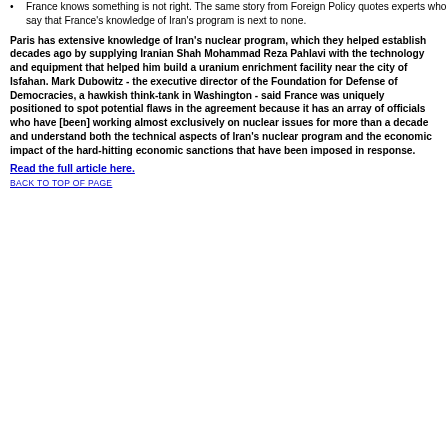France knows something is not right. The same story from Foreign Policy quotes experts who say that France's knowledge of Iran's program is next to none.
Paris has extensive knowledge of Iran's nuclear program, which they helped establish decades ago by supplying Iranian Shah Mohammad Reza Pahlavi with the technology and equipment that helped him build a uranium enrichment facility near the city of Isfahan. Mark Dubowitz - the executive director of the Foundation for Defense of Democracies, a hawkish think-tank in Washington - said France was uniquely positioned to spot potential flaws in the agreement because it has an array of officials who have [been] working almost exclusively on nuclear issues for more than a decade and understand both the technical aspects of Iran's nuclear program and the economic impact of the hard-hitting economic sanctions that have been imposed in response.
Read the full article here.
BACK TO TOP OF PAGE